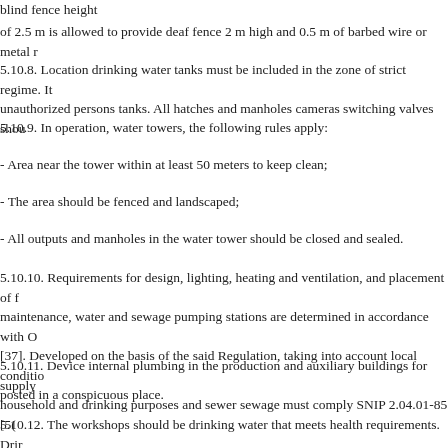blind fence height
of 2.5 m is allowed to provide deaf fence 2 m high and 0.5 m of barbed wire or metal r
5.10.8. Location drinking water tanks must be included in the zone of strict regime. It unauthorized persons tanks. All hatches and manholes cameras switching valves shou
5.10.9. In operation, water towers, the following rules apply:
- Area near the tower within at least 50 meters to keep clean;
- The area should be fenced and landscaped;
- All outputs and manholes in the water tower should be closed and sealed.
5.10.10. Requirements for design, lighting, heating and ventilation, and placement of f maintenance, water and sewage pumping stations are determined in accordance with O [37]. Developed on the basis of the said Regulation, taking into account local conditio posted in a conspicuous place.
5.10.11. Device internal plumbing in the production and auxiliary buildings for supply household and drinking purposes and sewer sewage must comply SNIP 2.04.01-85 [5(
5.10.12. The workshops should be drinking water that meets health requirements. Drir